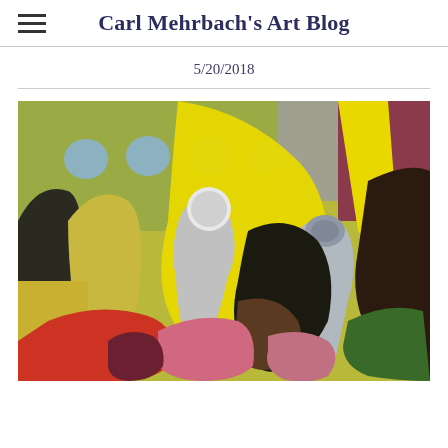Carl Mehrbach's Art Blog
5/20/2018
[Figure (illustration): Abstract oil painting featuring bold geometric and organic forms in yellow, red, pink, gray, dark brown, and green. Central figures resemble stylized vessel or torso forms with circular heads against a yellow background. Upper left has blue dot shapes on olive-green. Right side shows dark and mauve tones. Foreground has red and pink angular planes.]